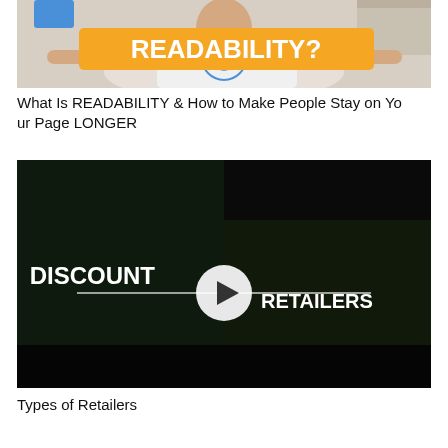[Figure (screenshot): Video thumbnail showing a person with arms outstretched and an orange banner with white bold text reading READABILITY?]
What Is READABILITY & How to Make People Stay on Your Page LONGER
[Figure (screenshot): Video thumbnail with dark background split into two halves; left side shows dim room scene, right side shows animal image; center overlay shows white bold text DISCOUNT on left, RETAILERS on right, with a white play button circle in the middle and a horizontal line through center]
Types of Retailers